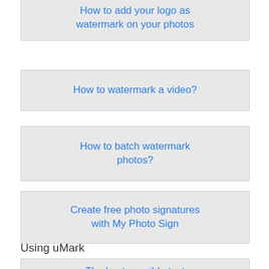How to add your logo as watermark on your photos
How to watermark a video?
How to batch watermark photos?
Create free photo signatures with My Photo Sign
Using uMark
The best possible text